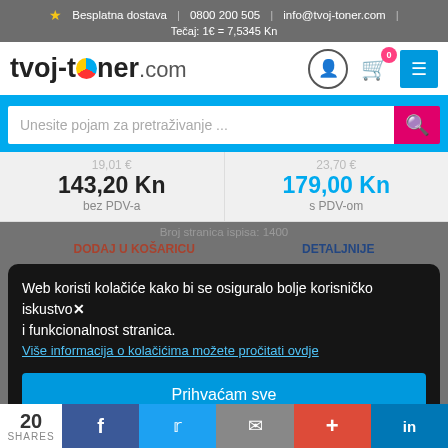Besplatna dostava | 0800 200 505 | info@tvoj-toner.com | Tečaj: 1€ = 7,5345 Kn
[Figure (screenshot): tvoj-toner.com logo with colored circle for the letter o]
Unesite pojam za pretraživanje ...
19,01 €
143,20 Kn
bez PDV-a
23,70 €
179,00 Kn
s PDV-om
Web koristi kolačiće kako bi se osiguralo bolje korisničko iskustvo✕ i funkcionalnost stranica.
Više informacija o kolačićima možete pročitati ovdje
Prihvaćam sve
Prihvaćam samo neophodno
20 SHARES | f | t | mail | + | in